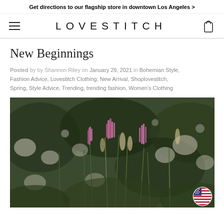Get directions to our flagship store in downtown Los Angeles >
LOVESTITCH
New Beginnings
Posted by by Shannon Riley on January 29, 2021 in Bohemian Style, Fashion Advice, Lovestitch Clothing, New Arrival, Shoplovestitch, Spring, Style Advice, Trending, trending fashion, Women's Clothing
[Figure (photo): A close-up nature photograph of wildflowers and plants in a garden or meadow, with pink/purple spiky blooms and soft bokeh background of green foliage and white flowers. An American flag emoji/badge visible in the bottom right corner.]